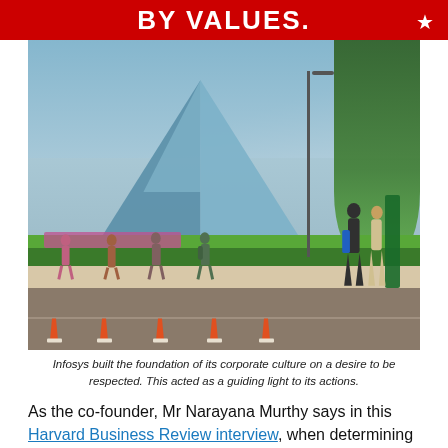BY VALUES.
[Figure (photo): Infosys campus building featuring a large glass pyramid structure, with people walking along the road in the foreground, trees on the right, and a street lamp visible.]
Infosys built the foundation of its corporate culture on a desire to be respected. This acted as a guiding light to its actions.
As the co-founder, Mr Narayana Murthy says in this Harvard Business Review interview, when determining what would be